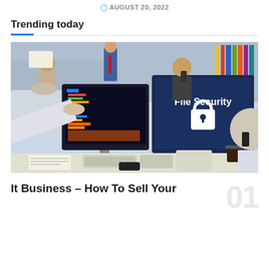AUGUST 20, 2022
Trending today
[Figure (photo): Office scene with business professionals at desks with computers. One monitor displays 'File Security' with a padlock icon on a dark blue screen. A person in foreground reaches forward holding papers. Others are working in the background.]
It Business – How To Sell Your